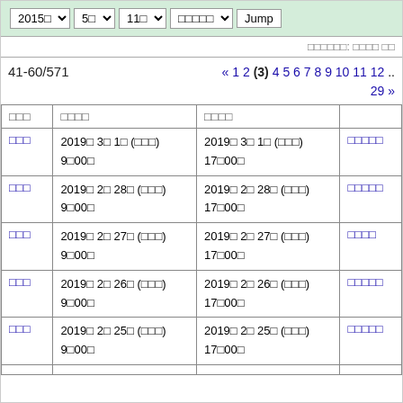[Figure (screenshot): Navigation bar with dropdowns: 2015년, 5월, 11일, dropdown, and Jump button on green background]
□□□□□□: □□□□ □□
41-60/571
« 1 2 (3) 4 5 6 7 8 9 10 11 12 .. 29 »
| □□□ | □□□□ | □□□□ |
| --- | --- | --- |
| □□□ | 2019□ 3□ 1□ (□□□)
9□00□ | 2019□ 3□ 1□ (□□□)
17□00□ |
| □□□ | 2019□ 2□ 28□ (□□□)
9□00□ | 2019□ 2□ 28□ (□□□)
17□00□ |
| □□□ | 2019□ 2□ 27□ (□□□)
9□00□ | 2019□ 2□ 27□ (□□□)
17□00□ |
| □□□ | 2019□ 2□ 26□ (□□□)
9□00□ | 2019□ 2□ 26□ (□□□)
17□00□ |
| □□□ | 2019□ 2□ 25□ (□□□)
9□00□ | 2019□ 2□ 25□ (□□□)
17□00□ |